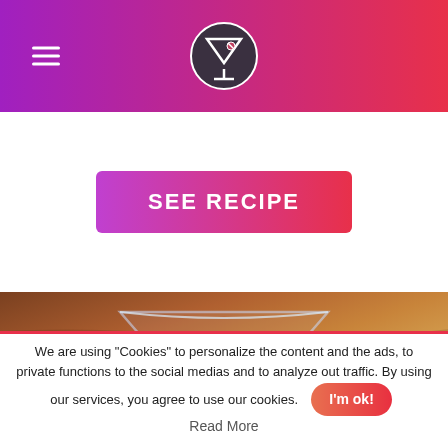Navigation header with hamburger menu and cocktail logo
[Figure (screenshot): SEE RECIPE button with pink-purple gradient background on white card area]
[Figure (photo): Cocktail Sapphire Martini - a martini glass with blue liquid on a wood table background, with title text overlay]
We are using "Cookies" to personalize the content and the ads, to private functions to the social medias and to analyze out traffic. By using our services, you agree to use our cookies.